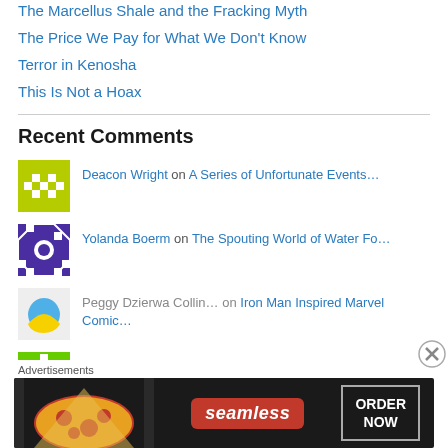The Marcellus Shale and the Fracking Myth
The Price We Pay for What We Don't Know
Terror in Kenosha
This Is Not a Hoax
Recent Comments
Deacon Wright on A Series of Unfortunate Events…
Yolanda Boerm on The Spouting World of Water Fo…
Peggy Dzierwa Collin… on Iron Man Inspired Marvel Comic…
Elizabeth on The Pastel World of Easter Vil…
Advertisements
[Figure (screenshot): Seamless food delivery advertisement banner with pizza image, Seamless logo, and ORDER NOW button]